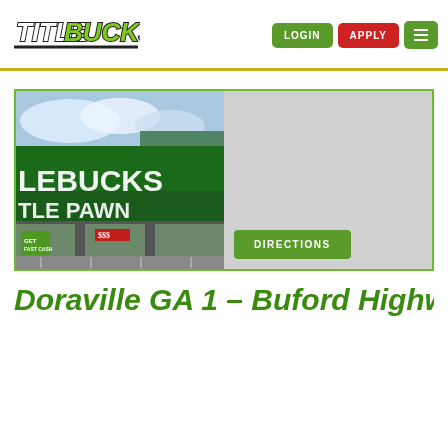[Figure (logo): TitleBucks logo — bold white/black outlined text 'TITLE' and 'BUCKS' with a dollar sign, underlined in black]
LOGIN
APPLY
[Figure (other): Hamburger menu icon (three horizontal bars) on green background]
[Figure (photo): Exterior photo of a TitleBucks store showing green signage reading 'LEBUCKS' and 'TLE PAWN' with green storefront windows and promotional signs]
[Figure (map): Gray map placeholder area with a DIRECTIONS button]
Doraville GA 1 – Buford Highway